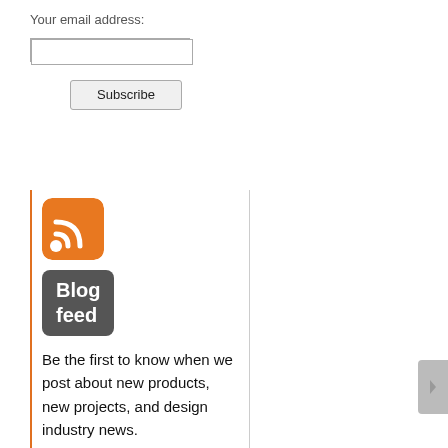Your email address:
[email input field]
Subscribe
[Figure (logo): Orange RSS feed icon with rounded corners]
Blog feed
Be the first to know when we post about new products, new projects, and design industry news.
Enter your email